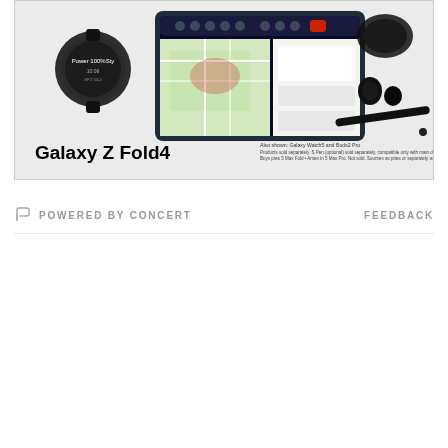[Figure (photo): Samsung Galaxy Z Fold4 advertisement banner showing a smartwatch, folded tablet/phone with a map interface on screen, wireless earbuds, and S Pen stylus on a light gray background. Product name 'Galaxy Z Fold4' in bold black text with small disclaimer text about also shown Galaxy Watch5 and Buds2 Pro.]
POWERED BY CONCERT
FEEDBACK